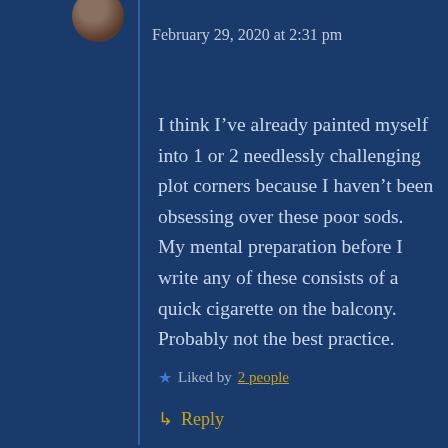February 29, 2020 at 2:31 pm
I think I’ve already painted myself into 1 or 2 needlessly challenging plot corners because I haven’t been obsessing over these poor sods. My mental preparation before I write any of these consists of a quick cigarette on the balcony. Probably not the best practice.
★ Liked by 2 people
↳ Reply